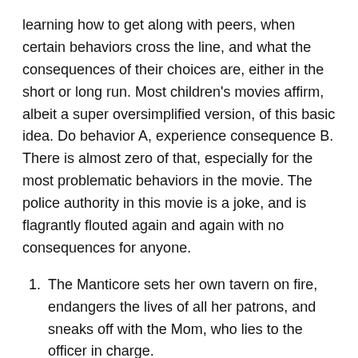learning how to get along with peers, when certain behaviors cross the line, and what the consequences of their choices are, either in the short or long run. Most children's movies affirm, albeit a super oversimplified version, of this basic idea. Do behavior A, experience consequence B. There is almost zero of that, especially for the most problematic behaviors in the movie. The police authority in this movie is a joke, and is flagrantly flouted again and again with no consequences for anyone.
The Manticore sets her own tavern on fire, endangers the lives of all her patrons, and sneaks off with the Mom, who lies to the officer in charge.
Mom is dating a cop, apparently should know better, and yet breaks the law left, right, and center.
A gang of pixies trashes a convenience store, no consequences. They all (apparently) behind the next...